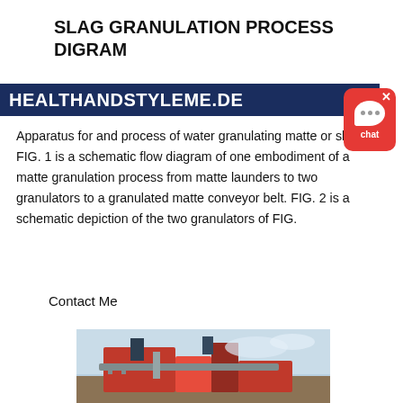SLAG GRANULATION PROCESS DIGRAM HEALTHANDSTYLEME.DE
Apparatus for and process of water granulating matte or slag. FIG. 1 is a schematic flow diagram of one embodiment of a matte granulation process from matte launders to two granulators to a granulated matte conveyor belt. FIG. 2 is a schematic depiction of the two granulators of FIG.
Contact Me
[Figure (photo): Photograph of industrial granulation equipment/machinery, partially visible, showing orange/red industrial equipment against a sky background.]